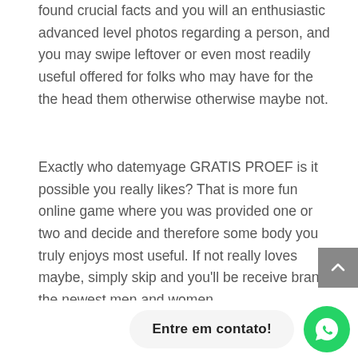found crucial facts and you will an enthusiastic advanced level photos regarding a person, and you may swipe leftover or even most readily useful offered for folks who may have for the the head them otherwise otherwise maybe not.
Exactly who datemyage GRATIS PROEF is it possible you really likes? That is more fun online game where you was provided one or two and decide and therefore some body you truly enjoys most useful. If not really loves maybe, simply skip and you’ll be receive brand-the newest men and women.
Entre em contato!